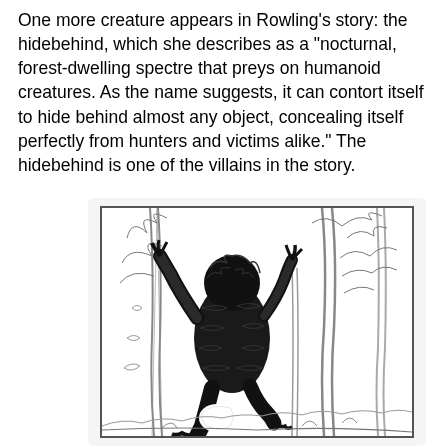One more creature appears in Rowling's story: the hidebehind, which she describes as a "nocturnal, forest-dwelling spectre that preys on humanoid creatures. As the name suggests, it can contort itself to hide behind almost any object, concealing itself perfectly from hunters and victims alike." The hidebehind is one of the villains in the story.
[Figure (illustration): Black and white woodcut-style illustration of the hidebehind creature standing upright in a forest, depicted as a dark furry beast among bare trees and foliage.]